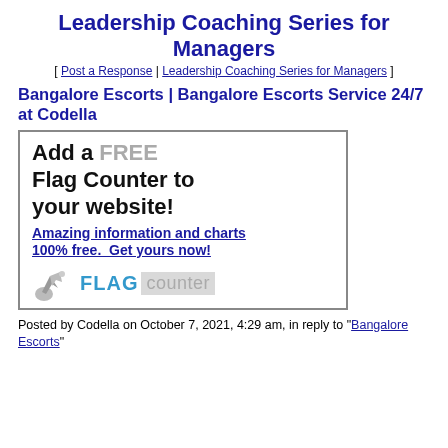Leadership Coaching Series for Managers
[ Post a Response | Leadership Coaching Series for Managers ]
Bangalore Escorts | Bangalore Escorts Service 24/7 at Codella
[Figure (other): Flag Counter advertisement banner: 'Add a FREE Flag Counter to your website! Amazing information and charts 100% free. Get yours now!' with Flag Counter logo at the bottom.]
Posted by Codella on October 7, 2021, 4:29 am, in reply to "Bangalore Escorts"